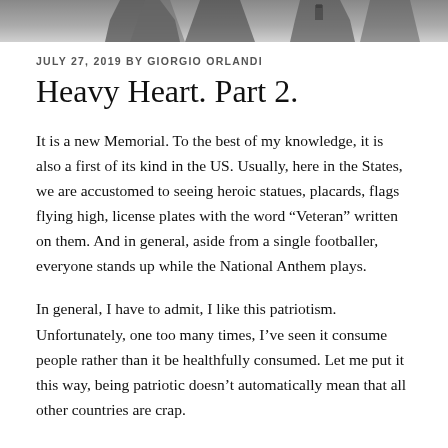[Figure (photo): Grayscale photo strip at the top showing partial figures or statues against a light background]
JULY 27, 2019 BY GIORGIO ORLANDI
Heavy Heart. Part 2.
It is a new Memorial. To the best of my knowledge, it is also a first of its kind in the US. Usually, here in the States, we are accustomed to seeing heroic statues, placards, flags flying high, license plates with the word “Veteran” written on them. And in general, aside from a single footballer, everyone stands up while the National Anthem plays.
In general, I have to admit, I like this patriotism. Unfortunately, one too many times, I’ve seen it consume people rather than it be healthfully consumed. Let me put it this way, being patriotic doesn’t automatically mean that all other countries are crap.